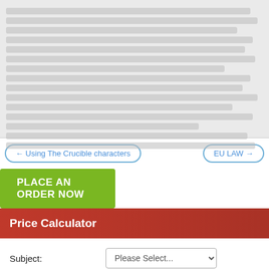[Figure (screenshot): Blurred/redacted text block showing a paragraph of body text, not legible]
← Using The Crucible characters
EU LAW →
PLACE AN ORDER NOW
Price Calculator
Subject:
Please Select...
Type:
Please Select